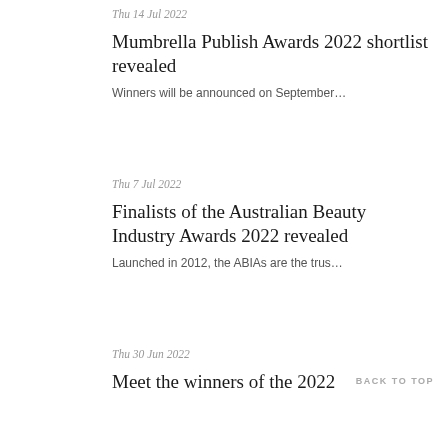Thu 14 Jul 2022
Mumbrella Publish Awards 2022 shortlist revealed
Winners will be announced on September…
Thu 7 Jul 2022
Finalists of the Australian Beauty Industry Awards 2022 revealed
Launched in 2012, the ABIAs are the trus…
Thu 30 Jun 2022
Meet the winners of the 2022
BACK TO TOP